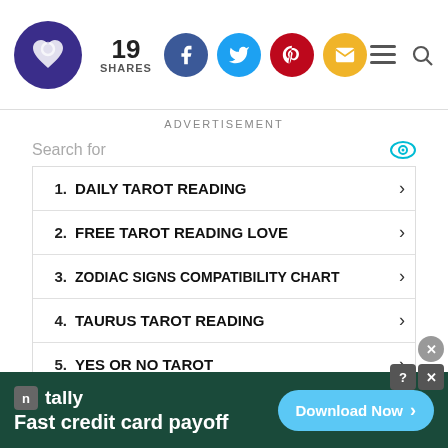19 SHARES — social share buttons, hamburger menu, search icon
ADVERTISEMENT
Search for
1. DAILY TAROT READING
2. FREE TAROT READING LOVE
3. ZODIAC SIGNS COMPATIBILITY CHART
4. TAURUS TAROT READING
5. YES OR NO TAROT
6. LIVE TAROT READINGS
tally — Fast credit card payoff — Download Now